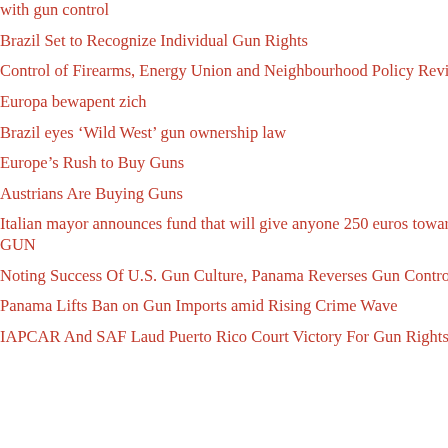with gun control
Brazil Set to Recognize Individual Gun Rights
Control of Firearms, Energy Union and Neighbourhood Policy Review
Europa bewapent zich
Brazil eyes ‘Wild West’ gun ownership law
Europe’s Rush to Buy Guns
Austrians Are Buying Guns
Italian mayor announces fund that will give anyone 250 euros towards the cost of a GUN
Noting Success Of U.S. Gun Culture, Panama Reverses Gun Control Laws
Panama Lifts Ban on Gun Imports amid Rising Crime Wave
IAPCAR And SAF Laud Puerto Rico Court Victory For Gun Rights
This is freedom in action,” c did so much to protect their Sec gun rights grab.
Tags: Arms Trade Treaty, CC UN ATT, United Nations Arms T Posted in News
HARD COPY: UN Arms
Thursday, July 26th, 2012
UN Arms Trade Treaty Final T
The draft of the Arms Trade
Submitted by the President of